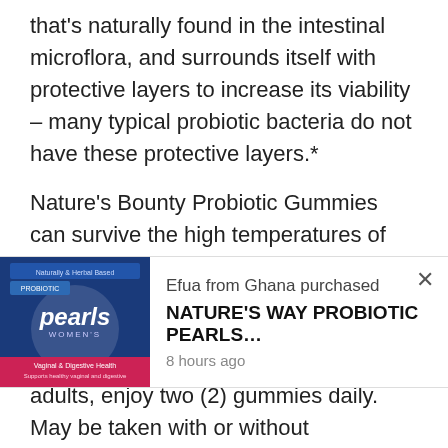that's naturally found in the intestinal microflora, and surrounds itself with protective layers to increase its viability – many typical probiotic bacteria do not have these protective layers.*
Nature's Bounty Probiotic Gummies can survive the high temperatures of the gummy processing environment – not to mention extremes of pH as found in your digestive tract – better than many typical probiotic bacteria, so you can get the friendly microorganisms your digestive system
[Figure (screenshot): A popup notification showing: product image of Nature's Way Probiotic Pearls Women's (pink and blue packaging), text 'Efua from Ghana purchased', bold text 'NATURE'S WAY PROBIOTIC PEARLS...', and '8 hours ago'. A close (×) button is at the top right.]
adults, enjoy two (2) gummies daily. May be taken with or without